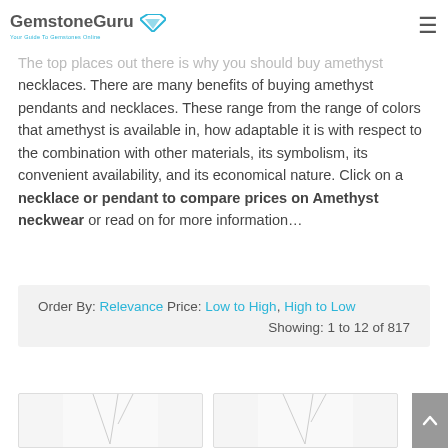GemstoneGuru — Your Guide To Gemstones Online
The top places out there is why you should buy amethyst necklaces. There are many benefits of buying amethyst pendants and necklaces. These range from the range of colors that amethyst is available in, how adaptable it is with respect to the combination with other materials, its symbolism, its convenient availability, and its economical nature. Click on a necklace or pendant to compare prices on Amethyst neckwear or read on for more information…
Order By: Relevance Price: Low to High, High to Low
Showing: 1 to 12 of 817
[Figure (photo): Two product thumbnail images of amethyst necklaces/pendants on white background]